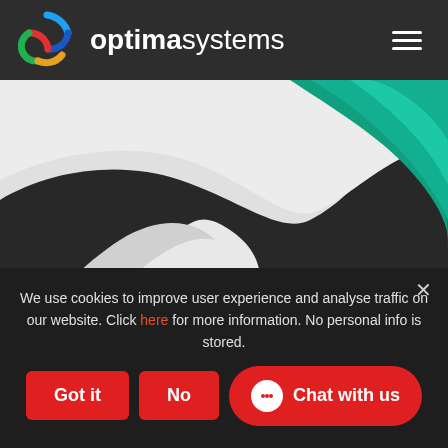[Figure (logo): Optima Systems logo with colorful S icon and brand name 'optimasystems' in white]
[Figure (photo): Abstract 3D ribbon/swoosh shapes in white and teal/green on dark background]
We use cookies to improve user experience and analyse traffic on our website. Click here for more information. No personal info is stored.
Got it
No
Chat with us